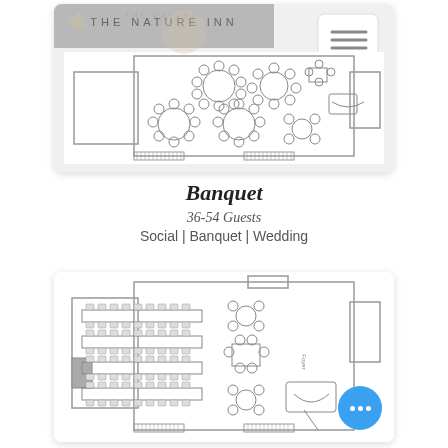[Figure (schematic): Floor plan of The Nature Inn venue showing circular tables arrangement with chairs, a menu icon in top right corner, and hotel header area. Top-down architectural layout showing room with seating arrangements.]
Banquet
36-54 Guests
Social | Banquet | Wedding
[Figure (schematic): Floor plan of The Nature Inn banquet setup showing long rectangular banquet-style tables with chairs along the sides, a small meeting table, podium area, and support spaces. Banquet layout configuration.]